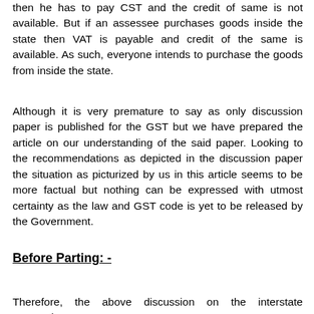then he has to pay CST and the credit of same is not available. But if an assessee purchases goods inside the state then VAT is payable and credit of the same is available. As such, everyone intends to purchase the goods from inside the state.
Although it is very premature to say as only discussion paper is published for the GST but we have prepared the article on our understanding of the said paper. Looking to the recommendations as depicted in the discussion paper the situation as picturized by us in this article seems to be more factual but nothing can be expressed with utmost certainty as the law and GST code is yet to be released by the Government.
Before Parting: -
Therefore, the above discussion on the interstate transactions...